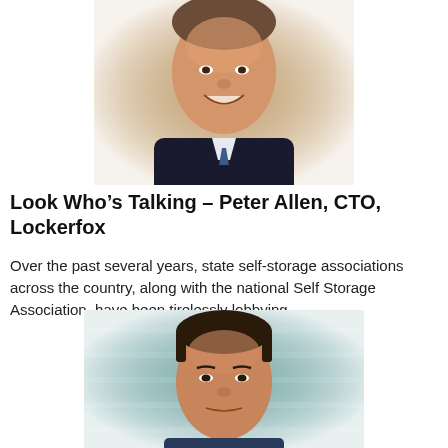[Figure (photo): Headshot photo of Peter Allen, CTO of Lockerfox – a smiling man in a dark suit, cropped to face and upper torso, soft vignette background]
Look Who’s Talking – Peter Allen, CTO, Lockerfox
Over the past several years, state self-storage associations across the country, along with the national Self Storage Association, have been tirelessly lobbying...
[Figure (photo): Headshot photo of a second person – a man with short dark hair, serious expression, light teal background, cropped to face and upper torso]